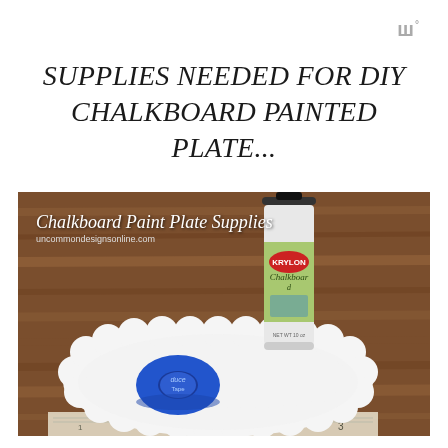ш°
SUPPLIES NEEDED FOR DIY CHALKBOARD PAINTED PLATE...
[Figure (photo): Photo of a white decorative plate with scalloped edges on a wood table surface, with a Krylon Chalkboard spray paint can and a roll of blue painter's tape placed on the plate. The image is overlaid with text 'Chalkboard Paint Plate Supplies' and 'uncommondesignsonline.com']